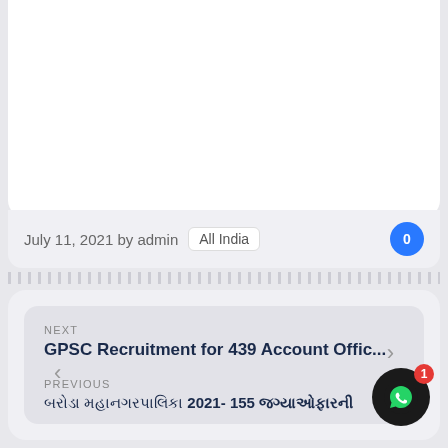[Figure (screenshot): White card area at the top, partially visible content area]
July 11, 2021 by admin  All India  0
NEXT
GPSC Recruitment for 439 Account Offic...
PREVIOUS
[Hindi/Gujarati text] 2021- 155 [Hindi/Gujarati text]